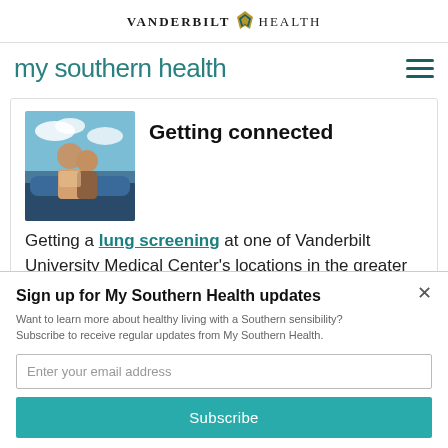VANDERBILT HEALTH
my southern health
[Figure (photo): Two people (a man and a woman) standing together near a car, outdoors with a blue sky background.]
Getting connected
Getting a lung screening at one of Vanderbilt University Medical Center's locations in the greater Nashville
Sign up for My Southern Health updates
Want to learn more about healthy living with a Southern sensibility? Subscribe to receive regular updates from My Southern Health.
Enter your email address
Subscribe